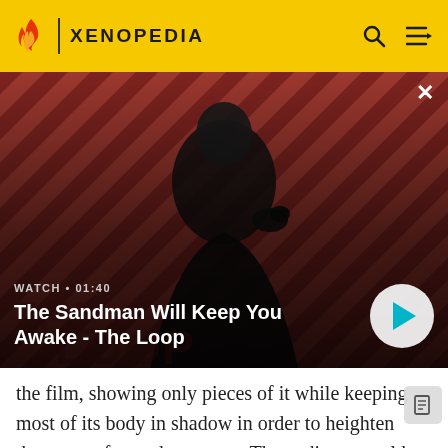XENOPEDIA
[Figure (screenshot): Video thumbnail showing a man in dark clothing with a crow on his shoulder against a red and black diagonal striped background. Video title overlay reads 'The Sandman Will Keep You Awake - The Loop' with watch time 01:40 and a play button.]
the film, showing only pieces of it while keeping most of its body in shadow in order to heighten the sense of terror and suspense. The audience could thus project their own fears into imagining what the rest of the creature might look like: "Every movement is going to be very slow, very